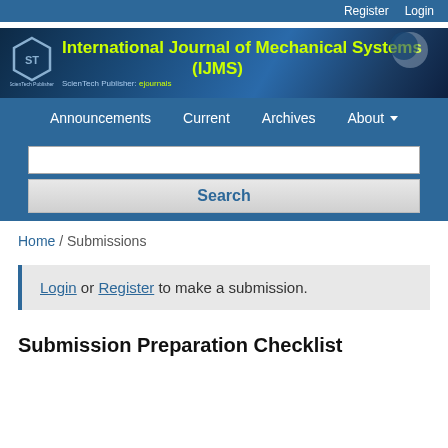Register  Login
[Figure (logo): International Journal of Mechanical Systems (IJMS) banner with ScienTech Publisher ejournals logo]
Announcements  Current  Archives  About
Search
Home / Submissions
Login or Register to make a submission.
Submission Preparation Checklist